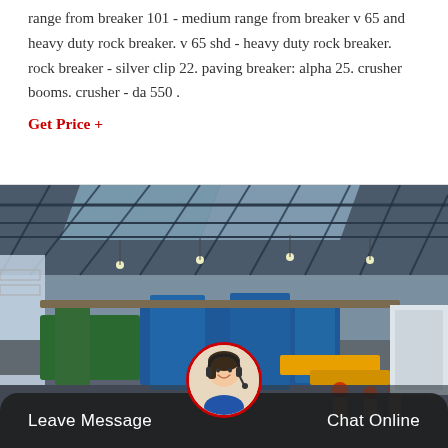range from breaker 101 - medium range from breaker v 65 and heavy duty rock breaker. v 65 shd - heavy duty rock breaker. rock breaker - silver clip 22. paving breaker: alpha 25. crusher booms. crusher - da 550 .
Get Price +
[Figure (photo): Interior of a large industrial factory or manufacturing plant. Wide-angle view of a massive steel-framed building with a corrugated roof and skylights. Heavy industrial equipment, blue machinery, conveyor systems, and yellow structural elements are visible. Workers in red hard hats are visible on the right side of the image.]
Leave Message
Chat Online